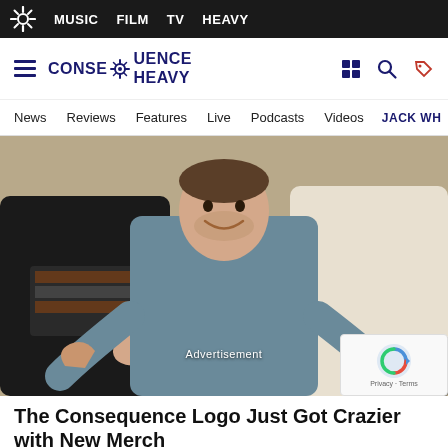MUSIC  FILM  TV  HEAVY
[Figure (logo): Consequence Heavy logo with gear icon]
News  Reviews  Features  Live  Podcasts  Videos  JACK WH
[Figure (photo): Man in grey t-shirt smiling and pointing thumbs at himself, flanked by two other people, indoors]
The Consequence Logo Just Got Crazier with New Merch